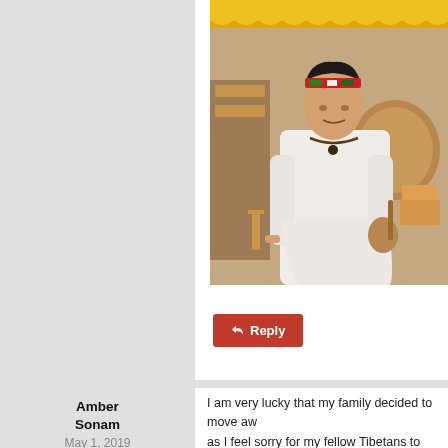[Figure (photo): Photo of a person in traditional Tibetan/ceremonial white clothing and colorful headband, inside a shrine or temple room with yellow decorations, holding a ceremonial object.]
↩ Reply
Amber Sonam
May 1, 2019
I am very lucky that my family decided to move aw as I feel sorry for my fellow Tibetans to remain in I seller. Sticking around the CTA will only bring the T
It is only fair that Tibetans get an Indian or Chines leading a normal life.